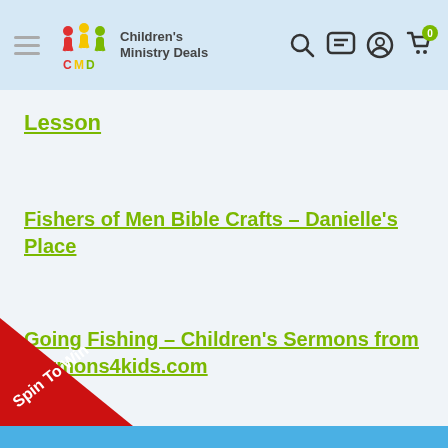Children's Ministry Deals
Lesson
Fishers of Men Bible Crafts - Danielle's Place
Going Fishing - Children's Sermons from Sermons4kids.com
[Figure (illustration): Red triangular Spin To Win promotional banner in the bottom-left corner with white bold text reading 'Spin To Win' and a left-pointing arrow.]